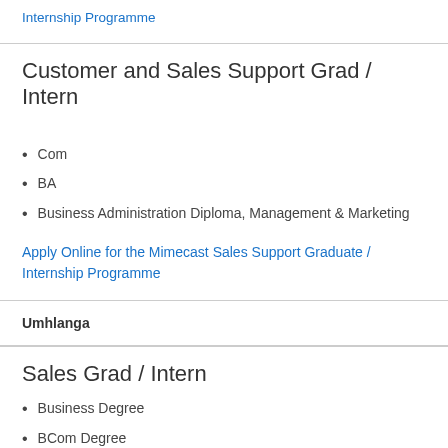Internship Programme
Customer and Sales Support Grad / Intern
Com
BA
Business Administration Diploma, Management & Marketing
Apply Online for the Mimecast Sales Support Graduate / Internship Programme
Umhlanga
Sales Grad / Intern
Business Degree
BCom Degree